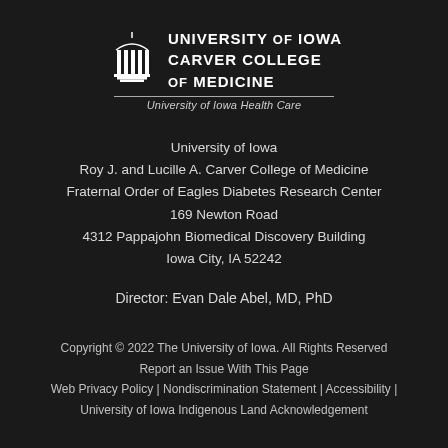[Figure (logo): University of Iowa Carver College of Medicine logo with building icon and text, and University of Iowa Health Care subtitle]
University of Iowa
Roy J. and Lucille A. Carver College of Medicine
Fraternal Order of Eagles Diabetes Research Center
169 Newton Road
4312 Pappajohn Biomedical Discovery Building
Iowa City, IA 52242
Director: Evan Dale Abel, MD, PhD
Copyright © 2022 The University of Iowa. All Rights Reserved
Report an Issue With This Page
Web Privacy Policy | Nondiscrimination Statement | Accessibility |
University of Iowa Indigenous Land Acknowledgement